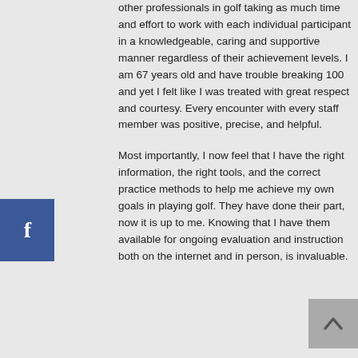other professionals in golf taking as much time and effort to work with each individual participant in a knowledgeable, caring and supportive manner regardless of their achievement levels. I am 67 years old and have trouble breaking 100 and yet I felt like I was treated with great respect and courtesy. Every encounter with every staff member was positive, precise, and helpful.
Most importantly, I now feel that I have the right information, the right tools, and the correct practice methods to help me achieve my own goals in playing golf. They have done their part, now it is up to me. Knowing that I have them available for ongoing evaluation and instruction both on the internet and in person, is invaluable.